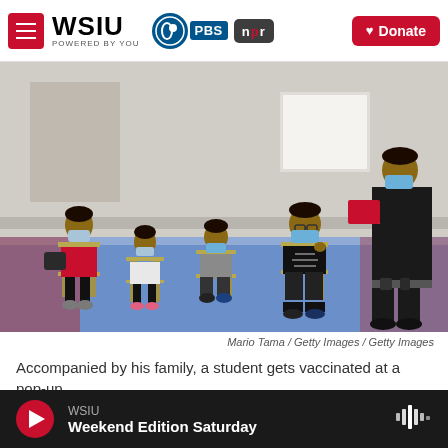[Figure (screenshot): WSIU website header with navigation menu button, WSIU logo (Powered By You), PBS logo, NPR logo, and red Donate button]
[Figure (photo): A family wearing face masks sits on chairs in a gymnasium with blue and red floor mats. A woman in a red shirt, two young children, and a teenage boy are seated while a uniformed official holding a clipboard/folder stands to the right. Setting appears to be a COVID-19 vaccination pop-up event.]
Mario Tama / Getty Images / Getty Images
Accompanied by his family, a student gets vaccinated at a pop-up
[Figure (screenshot): Audio player bar showing WSIU station name, Weekend Edition Saturday show, red play button, and audio waveform icon on dark background]